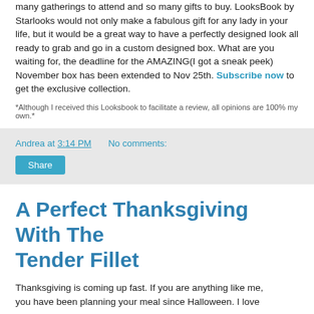With the holidays right around the corner, there will be so many gatherings to attend and so many gifts to buy. LooksBook by Starlooks would not only make a fabulous gift for any lady in your life, but it would be a great way to have a perfectly designed look all ready to grab and go in a custom designed box. What are you waiting for, the deadline for the AMAZING(I got a sneak peek) November box has been extended to Nov 25th. Subscribe now to get the exclusive collection.
*Although I received this Looksbook to facilitate a review, all opinions are 100% my own.*
Andrea at 3:14 PM   No comments:
Share
A Perfect Thanksgiving With The Tender Fillet
Thanksgiving is coming up fast. If you are anything like me, you have been planning your meal since Halloween. I love